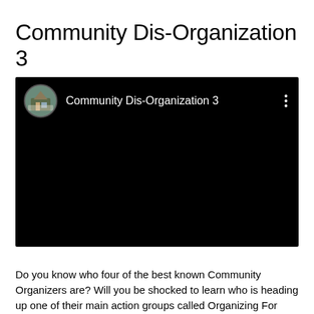Community Dis-Organization 3
[Figure (screenshot): A black video player/thumbnail showing a YouTube-style video card with a circular channel avatar on the left (showing a cabin/house in a forest), the channel name 'Community Dis-Organization 3' in white text, and a three-dot menu icon on the right. The rest of the video area is black.]
Do you know who four of the best known Community Organizers are? Will you be shocked to learn who is heading up one of their main action groups called Organizing For Action? Is it better to know? You decide.